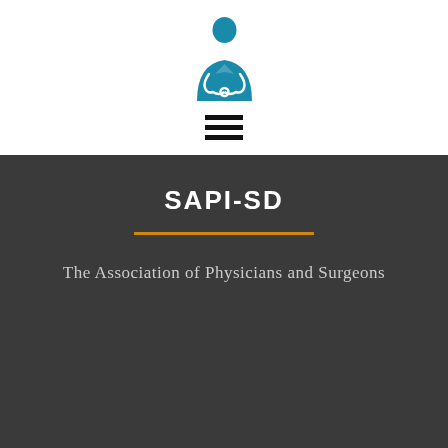[Figure (logo): Blue doctor/physician icon with stethoscope, wearing suit, depicted as a silhouette in teal/blue color]
[Figure (other): Hamburger menu icon with three horizontal black lines]
SAPI-SD
The Association of Physicians and Surgeons